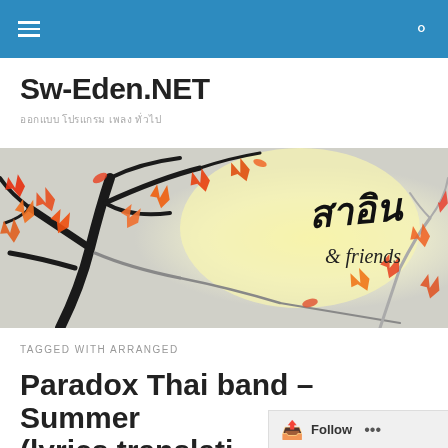Navigation bar with hamburger menu and search icon
Sw-Eden.NET
ออกแบบ โปรแกรม เพลง ทั่วไป
[Figure (illustration): Decorative banner showing autumn tree branches with red-orange maple leaves and Thai handwritten text 'สาอิน & friends' on a light yellow background]
TAGGED WITH ARRANGED
Paradox Thai band – Summer (lyrics translation to Eng…)